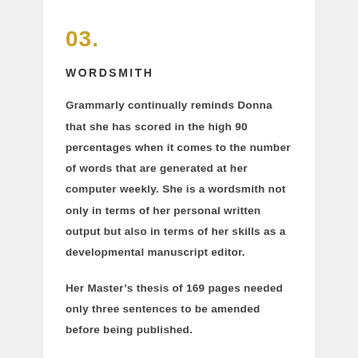03.
WORDSMITH
Grammarly continually reminds Donna that she has scored in the high 90 percentages when it comes to the number of words that are generated at her computer weekly. She is a wordsmith not only in terms of her personal written output but also in terms of her skills as a developmental manuscript editor.
Her Master’s thesis of 169 pages needed only three sentences to be amended before being published.